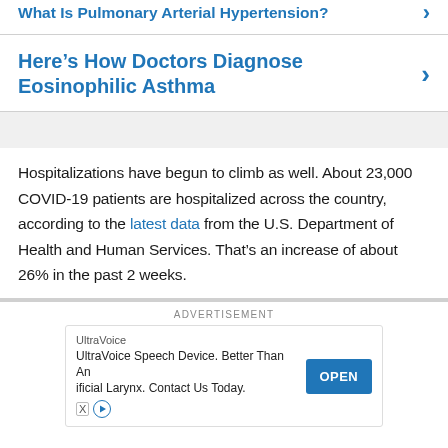What Is Pulmonary Arterial Hypertension?
Here’s How Doctors Diagnose Eosinophilic Asthma
Hospitalizations have begun to climb as well. About 23,000 COVID-19 patients are hospitalized across the country, according to the latest data from the U.S. Department of Health and Human Services. That’s an increase of about 26% in the past 2 weeks.
ADVERTISEMENT
UltraVoice
UltraVoice Speech Device. Better Than An Artificial Larynx. Contact Us Today.